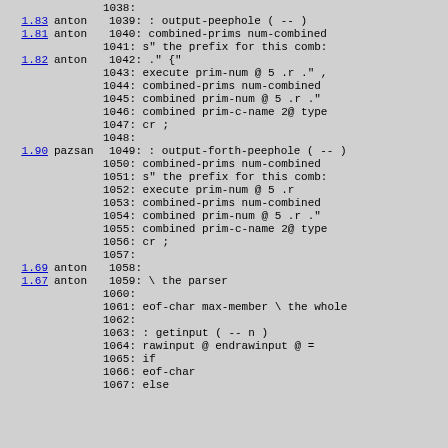Code listing with version annotations and Forth source code, lines 1038-1067
1038: (blank)
1.83 anton 1039: : output-peephole ( -- )
1.81 anton 1040: combined-prims num-combined
1041: s" the prefix for this comb:
1.82 anton 1042: ." {"
1043: execute prim-num @ 5 .r ." ,
1044: combined-prims num-combined
1045: combined prim-num @ 5 .r ."
1046: combined prim-c-name 2@ type
1047: cr ;
1048: (blank)
1.90 pazsan 1049: : output-forth-peephole ( -- )
1050: combined-prims num-combined
1051: s" the prefix for this comb:
1052: execute prim-num @ 5 .r
1053: combined-prims num-combined
1054: combined prim-num @ 5 .r ."
1055: combined prim-c-name 2@ type
1056: cr ;
1057: (blank)
1.69 anton 1058: (blank)
1.67 anton 1059: \ the parser
1060: (blank)
1061: eof-char max-member \ the whole
1062: (blank)
1063: : getinput ( -- n )
1064: rawinput @ endrawinput @ =
1065: if
1066: eof-char
1067: else